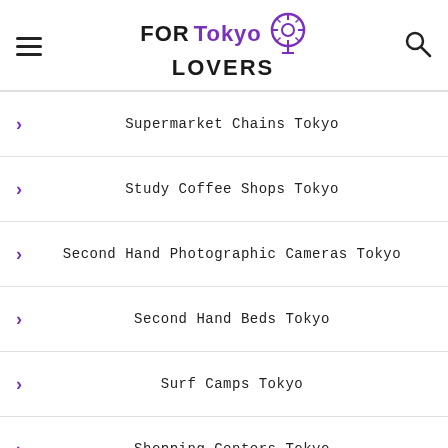FOR Tokyo LOVERS [logo]
Supermarket Chains Tokyo
Study Coffee Shops Tokyo
Second Hand Photographic Cameras Tokyo
Second Hand Beds Tokyo
Surf Camps Tokyo
Shopping Centers Tokyo
Shopping Centers Open On Sundays Tokyo
Study Radiology Centers Tokyo